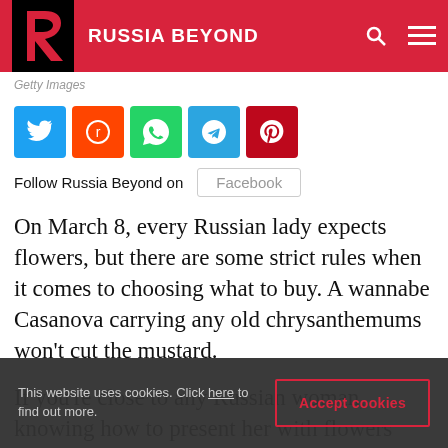RUSSIA BEYOND
Getty Images
[Figure (infographic): Social share buttons: Twitter (blue), Reddit (orange), WhatsApp (green), Telegram (light blue), Pinterest (red)]
Follow Russia Beyond on  Facebook
On March 8, every Russian lady expects flowers, but there are some strict rules when it comes to choosing what to buy. A wannabe Casanova carrying any old chrysanthemums won't cut the mustard.
If you're close to any Russian woman, knowing how to present her with flowers could make or
This website uses cookies. Click here to find out more.
Accept cookies